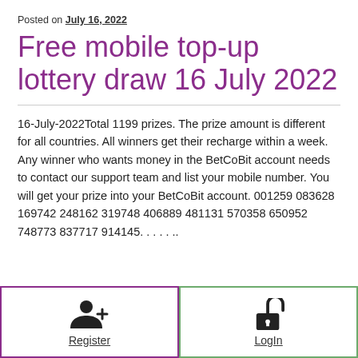Posted on July 16, 2022
Free mobile top-up lottery draw 16 July 2022
16-July-2022Total 1199 prizes. The prize amount is different for all countries. All winners get their recharge within a week. Any winner who wants money in the BetCoBit account needs to contact our support team and list your mobile number. You will get your prize into your BetCoBit account. 001259 083628 169742 248162 319748 406889 481131 570358 650952 748773 837717 914145. . . . . ..
[Figure (illustration): Register button with person-plus icon and underlined Register label]
[Figure (illustration): LogIn button with open padlock icon and underlined LogIn label]